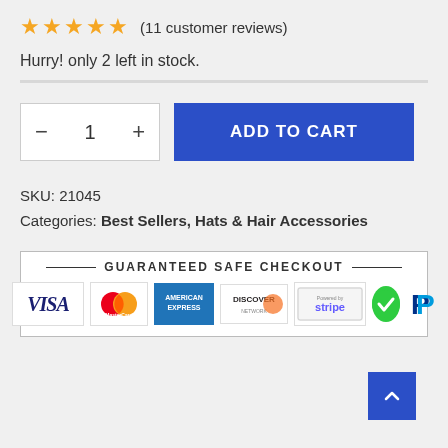★★★★★ (11 customer reviews)
Hurry! only 2 left in stock.
[Figure (other): Quantity selector with minus and plus buttons showing value 1, and ADD TO CART button]
SKU: 21045
Categories: Best Sellers, Hats & Hair Accessories
[Figure (other): GUARANTEED SAFE CHECKOUT banner with payment logos: Visa, MasterCard, American Express, Discover, Stripe, checkmark badge, PayPal]